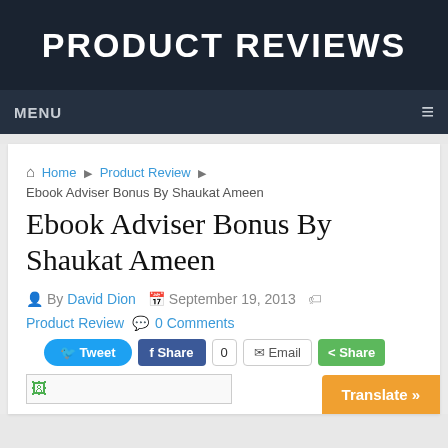PRODUCT REVIEWS
MENU
Home ▶ Product Review ▶ Ebook Adviser Bonus By Shaukat Ameen
Ebook Adviser Bonus By Shaukat Ameen
By David Dion  September 19, 2013  Product Review  0 Comments
[Figure (screenshot): Social share buttons: Tweet, Share (Facebook with count 0), Email, Share (green)]
[Figure (screenshot): Image placeholder with small green icon, Translate button overlay]